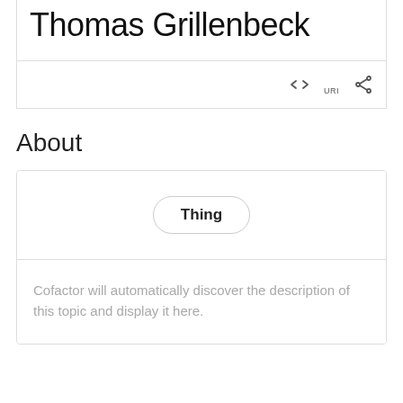Thomas Grillenbeck
[Figure (other): Toolbar with URI icon (angle brackets with angle) and share icon]
About
Thing
Cofactor will automatically discover the description of this topic and display it here.